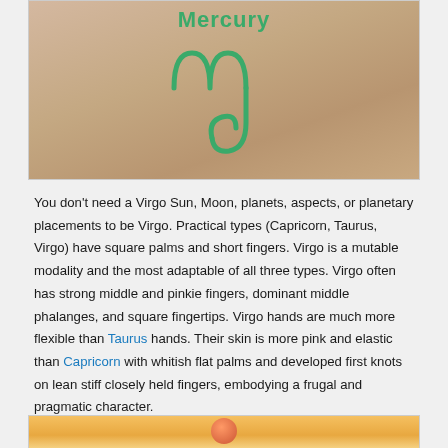[Figure (photo): A hand/fist with a green Mercury label at the top and a green Virgo astrological symbol (ℳ♍) drawn on the skin, against a beige/tan background.]
You don't need a Virgo Sun, Moon, planets, aspects, or planetary placements to be Virgo. Practical types (Capricorn, Taurus, Virgo) have square palms and short fingers. Virgo is a mutable modality and the most adaptable of all three types. Virgo often has strong middle and pinkie fingers, dominant middle phalanges, and square fingertips. Virgo hands are much more flexible than Taurus hands. Their skin is more pink and elastic than Capricorn with whitish flat palms and developed first knots on lean stiff closely held fingers, embodying a frugal and pragmatic character.
[Figure (photo): Partial view of another image at the bottom of the page, showing an orange/yellow background with what appears to be a round object partially visible.]